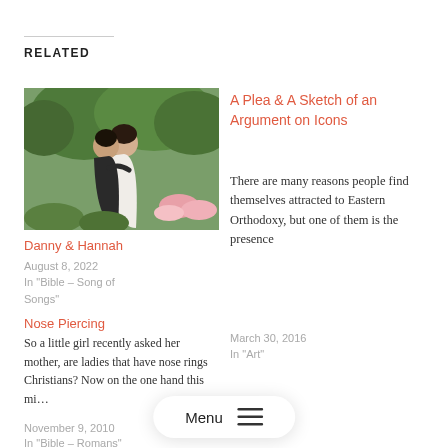RELATED
[Figure (photo): A couple embracing outdoors in a garden setting, woman in white dress, colorful flowers in background]
Danny & Hannah
August 8, 2022
In "Bible – Song of Songs"
A Plea & A Sketch of an Argument on Icons
There are many reasons people find themselves attracted to Eastern Orthodoxy, but one of them is the presence
March 30, 2016
In "Art"
Nose Piercing
So a little girl recently asked her mother, are ladies that have nose rings Christians? Now on the one hand this mi…
November 9, 2010
In "Bible – Romans"